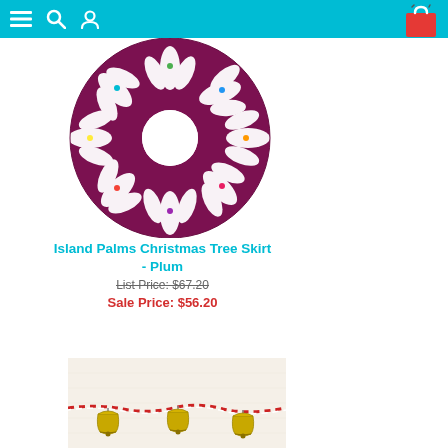Navigation header with menu, search, user icons and shopping bag
[Figure (photo): Island Palms Christmas Tree Skirt in Plum color - circular tree skirt with white palm leaf pattern on dark plum/maroon background with colorful accents and center hole]
Island Palms Christmas Tree Skirt - Plum
List Price: $67.20
Sale Price: $56.20
[Figure (photo): Close-up photo of a jingle bell garland with gold/brass bells on a red and white twisted cord/string against a light cream/beige linen background]